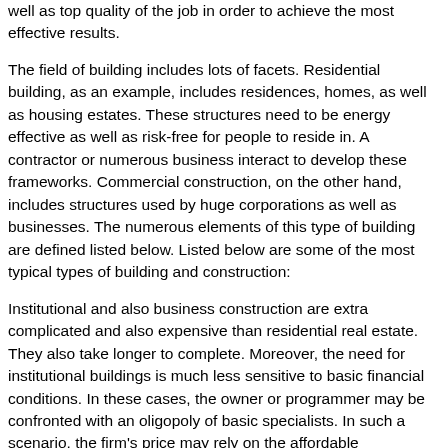well as top quality of the job in order to achieve the most effective results.
The field of building includes lots of facets. Residential building, as an example, includes residences, homes, as well as housing estates. These structures need to be energy effective as well as risk-free for people to reside in. A contractor or numerous business interact to develop these frameworks. Commercial construction, on the other hand, includes structures used by huge corporations as well as businesses. The numerous elements of this type of building are defined listed below. Listed below are some of the most typical types of building and construction:
Institutional and also business construction are extra complicated and also expensive than residential real estate. They also take longer to complete. Moreover, the need for institutional buildings is much less sensitive to basic financial conditions. In these cases, the owner or programmer may be confronted with an oligopoly of basic specialists. In such a scenario, the firm's price may rely on the affordable approaches